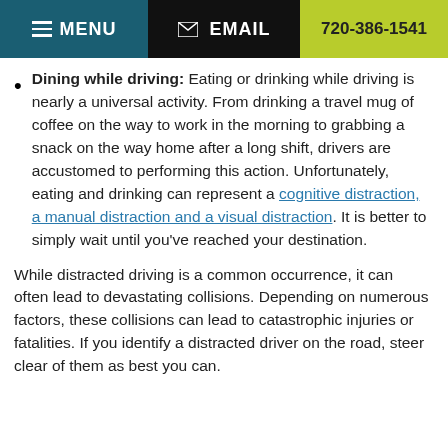MENU  EMAIL  720-386-1541
Dining while driving: Eating or drinking while driving is nearly a universal activity. From drinking a travel mug of coffee on the way to work in the morning to grabbing a snack on the way home after a long shift, drivers are accustomed to performing this action. Unfortunately, eating and drinking can represent a cognitive distraction, a manual distraction and a visual distraction. It is better to simply wait until you've reached your destination.
While distracted driving is a common occurrence, it can often lead to devastating collisions. Depending on numerous factors, these collisions can lead to catastrophic injuries or fatalities. If you identify a distracted driver on the road, steer clear of them as best you can.